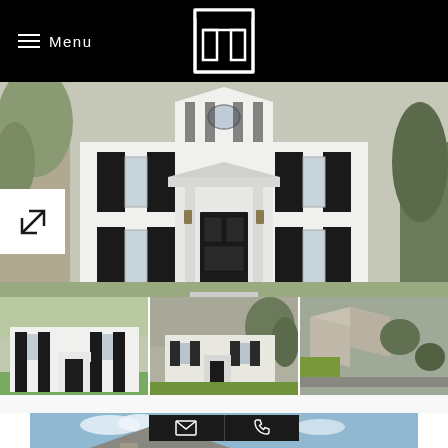Menu
[Figure (photo): White colonial-style house with black shutters, large front portico with columns and lantern lights, oval window in upper gable, viewed from the front]
[Figure (photo): Thumbnail 1: White colonial house with black shutters, front lawn with green grass, street-level view]
[Figure (photo): Thumbnail 2: Aerial/angled view of white colonial house with dark shutters, tree-lined driveway, lush grounds]
[Figure (photo): Thumbnail 3: Aerial drone view of white colonial house neighborhood, rooftops visible]
[Figure (photo): Partial bottom photo showing roofline of house against blue sky with clouds]